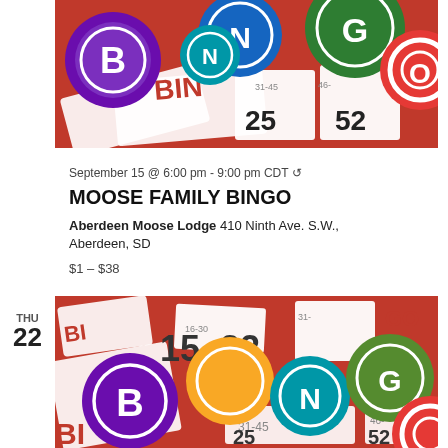[Figure (illustration): Colorful bingo balls (purple B, blue N, green G, yellow, red-white O) scattered over red bingo cards showing numbers like 25, 52, 31-45, 46]
September 15 @ 6:00 pm - 9:00 pm CDT ↺
MOOSE FAMILY BINGO
Aberdeen Moose Lodge 410 Ninth Ave. S.W., Aberdeen, SD
$1 – $38
THU
22
[Figure (illustration): Colorful bingo balls (purple B, yellow, blue N, green G, red O) on red bingo cards showing numbers like 15, 22, 16-30, 31, 46, 31-45, 52]